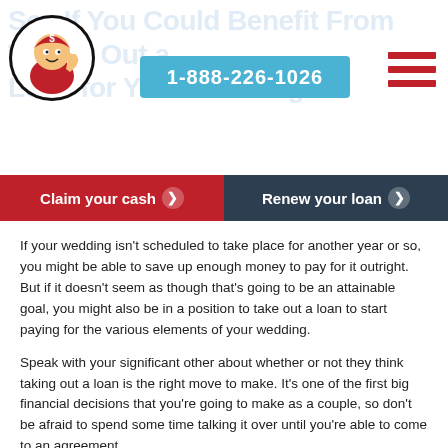See If You Could Benefit From Taking Out a Loan for Your Wedding
[Figure (logo): Red cartoon mascot character with dollar sign on cap, thumbs up, inside a black circle]
1-888-226-1026
[Figure (other): Hamburger menu icon with three red horizontal lines]
Claim your cash ❯
Renew your loan ❯
If your wedding isn't scheduled to take place for another year or so, you might be able to save up enough money to pay for it outright. But if it doesn't seem as though that's going to be an attainable goal, you might also be in a position to take out a loan to start paying for the various elements of your wedding.
Speak with your significant other about whether or not they think taking out a loan is the right move to make. It's one of the first big financial decisions that you're going to make as a couple, so don't be afraid to spend some time talking it over until you're able to come to an agreement.
Find the Right Lender to Provide You with a Loan
If you and your significant other decide that you are, in fact, going to take out a loan to pay for your wedding, it is important...